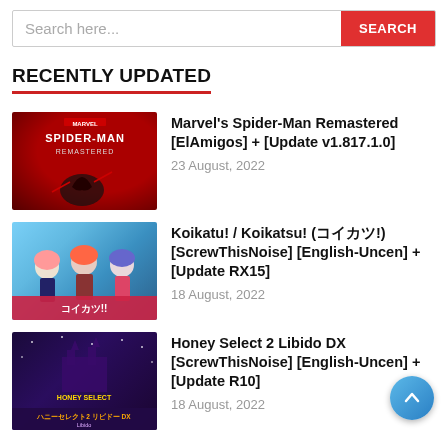Search here...
RECENTLY UPDATED
Marvel's Spider-Man Remastered [ElAmigos] + [Update v1.817.1.0]
23 August, 2022
Koikatu! / Koikatsu! (コイカツ!) [ScrewThisNoise] [English-Uncen] + [Update RX15]
18 August, 2022
Honey Select 2 Libido DX [ScrewThisNoise] [English-Uncen] + [Update R10]
18 August, 2022